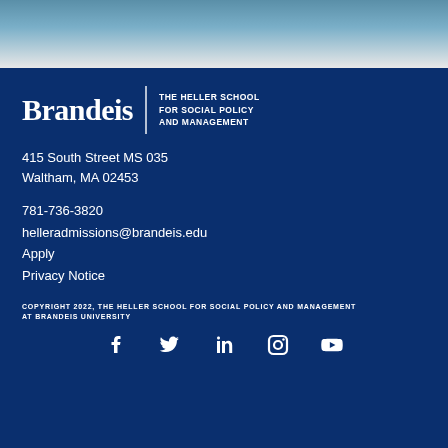[Figure (photo): Partial photo visible at the top of the page, showing a blue/teal background scene]
Brandeis | THE HELLER SCHOOL FOR SOCIAL POLICY AND MANAGEMENT
415 South Street MS 035
Waltham, MA 02453
781-736-3820
helleradmissions@brandeis.edu
Apply
Privacy Notice
COPYRIGHT 2022, THE HELLER SCHOOL FOR SOCIAL POLICY AND MANAGEMENT AT BRANDEIS UNIVERSITY
[Figure (other): Social media icons row: Facebook, Twitter, LinkedIn, Instagram, YouTube]